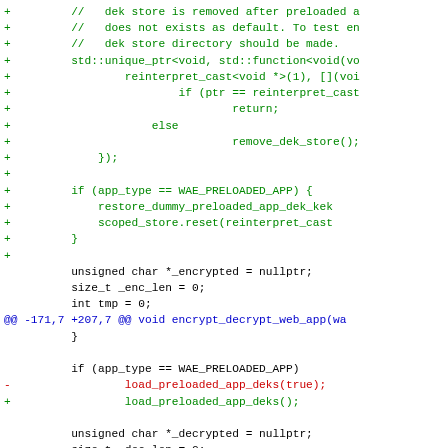[Figure (screenshot): Code diff showing C++ source changes with green added lines (+), red removed lines (-), and blue hunk headers (@@). The diff includes additions of a scoped DEK store pointer, WAE_PRELOADED_APP conditional, variable declarations, and a hunk showing load_preloaded_app_deks changes.]